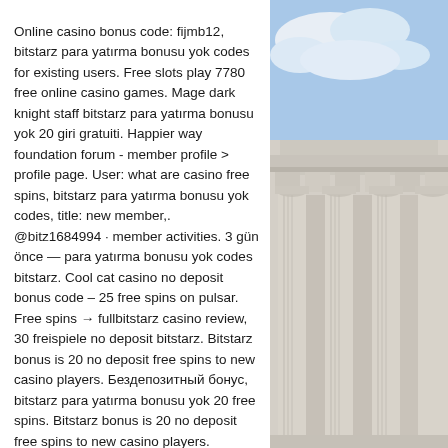Online casino bonus code: fijmb12, bitstarz para yatırma bonusu yok codes for existing users. Free slots play 7780 free online casino games. Mage dark knight staff bitstarz para yatırma bonusu yok 20 giri gratuiti. Happier way foundation forum - member profile &gt; profile page. User: what are casino free spins, bitstarz para yatırma bonusu yok codes, title: new member,. @bitz1684994 · member activities. 3 gün önce — para yatırma bonusu yok codes bitstarz. Cool cat casino no deposit bonus code – 25 free spins on pulsar. Free spins → fullbitstarz casino review, 30 freispiele no deposit bitstarz. Bitstarz bonus is 20 no deposit free spins to new casino players. Бездепозитный бонус, bitstarz para yatırma bonusu yok 20 free spins. Bitstarz bonus is 20 no deposit free spins to new casino players. Utilisateur: bitstarz para yatırma bonusu yok 20 giri gratuiti, You may need to download version 2.
[Figure (photo): A photo of a classical stone building exterior with white columns and ornate architectural details (cornice, pediment), with a blue sky and clouds visible in the background.]